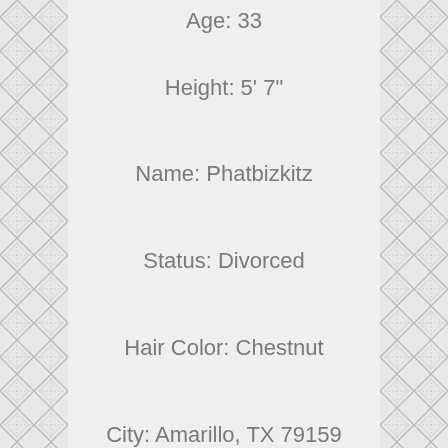Age: 33
Height: 5' 7"
Name: Phatbizkitz
Status: Divorced
Hair Color: Chestnut
City: Amarillo, TX 79159